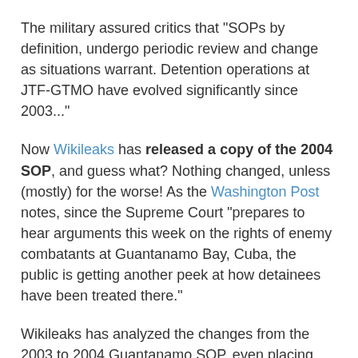The military assured critics that "SOPs by definition, undergo periodic review and change as situations warrant. Detention operations at JTF-GTMO have evolved significantly since 2003..."
Now Wikileaks has released a copy of the 2004 SOP, and guess what? Nothing changed, unless (mostly) for the worse! As the Washington Post notes, since the Supreme Court "prepares to hear arguments this week on the rights of enemy combatants at Guantanamo Bay, Cuba, the public is getting another peek at how detainees have been treated there."
Wikileaks has analyzed the changes from the 2003 to 2004 Guantanamo SOP, even placing copies of the relevant passages changed in a side-by-side fashion.
Nothing has changed regarding the conditions of confinement. Detainees are still placed in a minimum of 30 days total isolation upon transfer to Guantanamo. Such isolation can be extended, if approved.